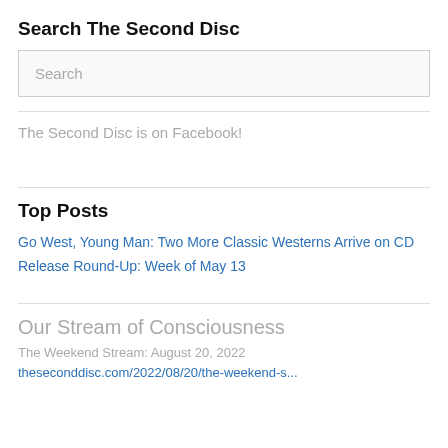Search The Second Disc
Search
The Second Disc is on Facebook!
Top Posts
Go West, Young Man: Two More Classic Westerns Arrive on CD
Release Round-Up: Week of May 13
Our Stream of Consciousness
The Weekend Stream: August 20, 2022
theseconddisc.com/2022/08/20/the-weekend-s...